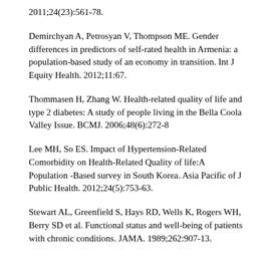2011;24(23):561-78.
Demirchyan A, Petrosyan V, Thompson ME. Gender differences in predictors of self-rated health in Armenia: a population-based study of an economy in transition. Int J Equity Health. 2012;11:67.
Thommasen H, Zhang W. Health-related quality of life and type 2 diabetes: A study of people living in the Bella Coola Valley Issue. BCMJ. 2006;48(6):272-8
Lee MH, So ES. Impact of Hypertension-Related Comorbidity on Health-Related Quality of life:A Population -Based survey in South Korea. Asia Pacific of J Public Health. 2012;24(5):753-63.
Stewart AL, Greenfield S, Hays RD, Wells K, Rogers WH, Berry SD et al. Functional status and well-being of patients with chronic conditions. JAMA. 1989;262:907-13.